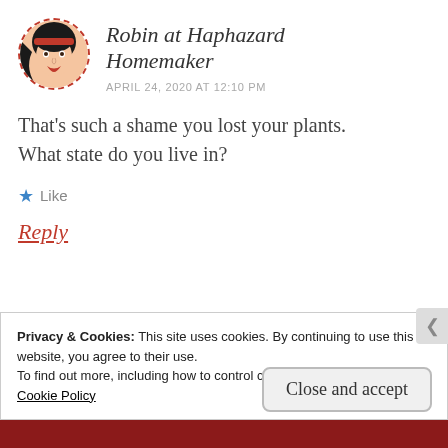[Figure (illustration): Circular avatar with dashed red border showing a cartoon woman with dark hair and a red headband]
Robin at Haphazard Homemaker
APRIL 24, 2020 AT 12:10 PM
That’s such a shame you lost your plants. What state do you live in?
★ Like
Reply
Privacy & Cookies: This site uses cookies. By continuing to use this website, you agree to their use.
To find out more, including how to control cookies, see here:
Cookie Policy
Close and accept